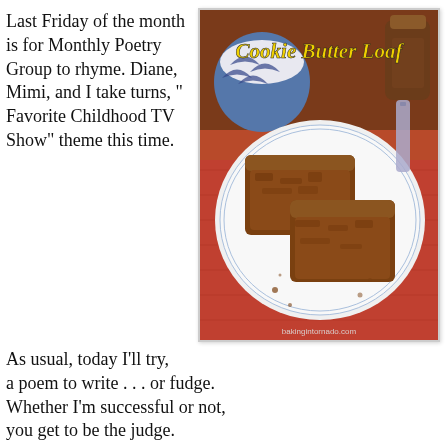Last Friday of the month is for Monthly Poetry Group to rhyme. Diane, Mimi, and I take turns, " Favorite Childhood TV Show" theme this time.
[Figure (photo): Photo of cookie butter loaf slices on a white plate with blue rim, placed on a red cloth. Blue and white patterned cup in background. Text overlay reads 'Cookie Butter Loaf' in yellow stylized font. Watermark: bakingintornado.com]
As usual, today I'll try,
a poem to write . . . or fudge.
Whether I'm successful or not,
you get to be the judge.